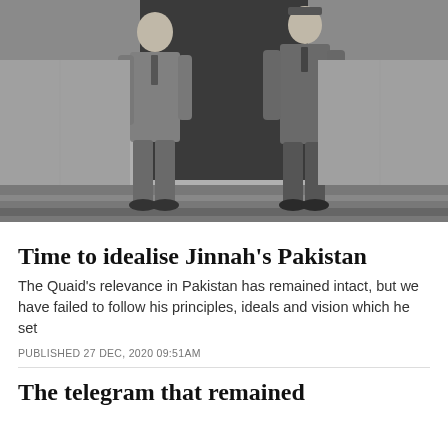[Figure (photo): Black and white photograph of two men in suits standing in front of a dark doorway or entrance, likely a historical photo.]
Time to idealise Jinnah’s Pakistan
The Quaid’s relevance in Pakistan has remained intact, but we have failed to follow his principles, ideals and vision which he set
PUBLISHED 27 DEC, 2020 09:51AM
The telegram that remained